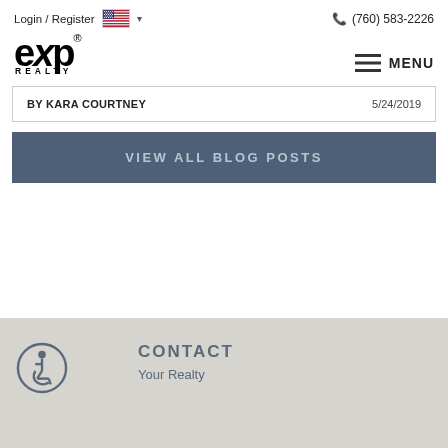Login / Register  (760) 583-2226
[Figure (logo): eXp Realty logo in bold black text with REALTY subtitle]
MENU
BY KARA COURTNEY  5/24/2019
VIEW ALL BLOG POSTS
CONTACT
Your Realty